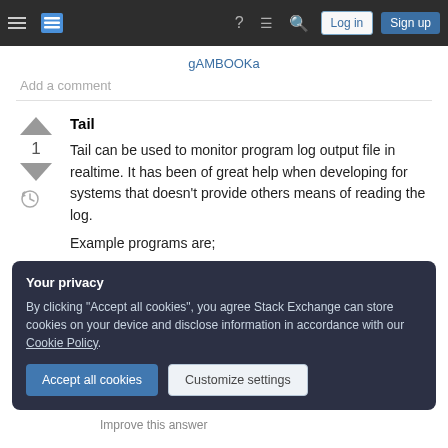Stack Exchange navigation bar with hamburger menu, logo, help, chat, search icons, Log in and Sign up buttons
gAMBOOKa
Add a comment
Tail
Tail can be used to monitor program log output file in realtime. It has been of great help when developing for systems that doesn't provide others means of reading the log.
Example programs are;
Your privacy
By clicking "Accept all cookies", you agree Stack Exchange can store cookies on your device and disclose information in accordance with our Cookie Policy.
Accept all cookies  Customize settings
Improve this answer